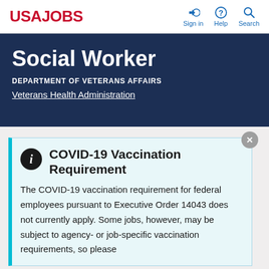USAJOBS  Sign in  Help  Search
Social Worker
DEPARTMENT OF VETERANS AFFAIRS
Veterans Health Administration
COVID-19 Vaccination Requirement
The COVID-19 vaccination requirement for federal employees pursuant to Executive Order 14043 does not currently apply. Some jobs, however, may be subject to agency- or job-specific vaccination requirements, so please